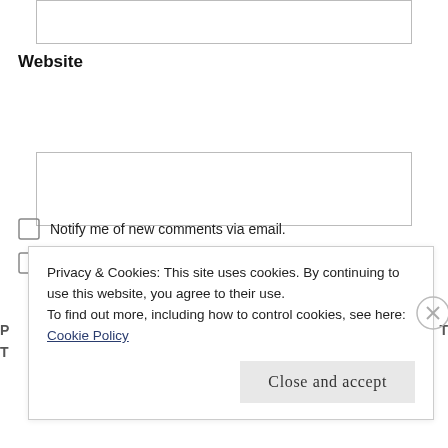[Figure (screenshot): Top portion of a web form input box (partially visible at top of page)]
Website
[Figure (screenshot): Website input text field (empty)]
Notify me of new comments via email.
Notify me of new posts via email.
Privacy & Cookies: This site uses cookies. By continuing to use this website, you agree to their use.
To find out more, including how to control cookies, see here:
Cookie Policy
Close and accept